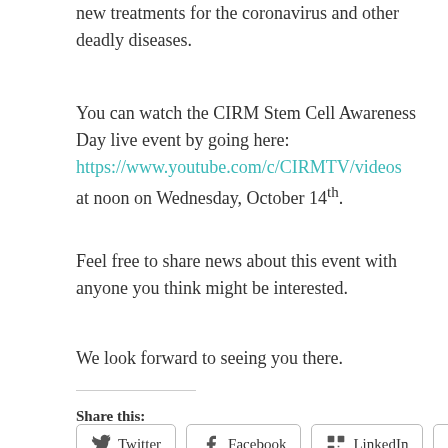new treatments for the coronavirus and other deadly diseases.
You can watch the CIRM Stem Cell Awareness Day live event by going here: https://www.youtube.com/c/CIRMTV/videos at noon on Wednesday, October 14th.
Feel free to share news about this event with anyone you think might be interested.
We look forward to seeing you there.
Share this:
Twitter  Facebook  LinkedIn  Email
Loading